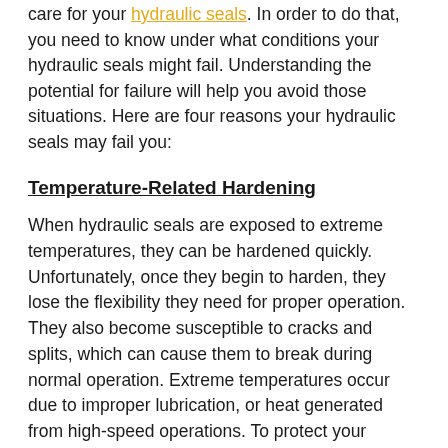care for your hydraulic seals. In order to do that, you need to know under what conditions your hydraulic seals might fail. Understanding the potential for failure will help you avoid those situations. Here are four reasons your hydraulic seals may fail you:
Temperature-Related Hardening
When hydraulic seals are exposed to extreme temperatures, they can be hardened quickly. Unfortunately, once they begin to harden, they lose the flexibility they need for proper operation. They also become susceptible to cracks and splits, which can cause them to break during normal operation. Extreme temperatures occur due to improper lubrication, or heat generated from high-speed operations. To protect your hydraulic seals from temperature-related hardening, be sure your equipment has sufficient lubrication prior to beginning high-temperature, or high-speed operations.
Installation-Related Damage